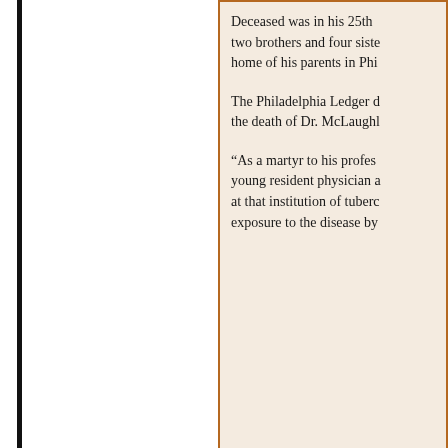Deceased was in his 25th ... two brothers and four siste... home of his parents in Phi...
The Philadelphia Ledger c... the death of Dr. McLaughl...
“As a martyr to his profess... young resident physician a... at that institution of tuberc... exposure to the disease by...
Children of Margaret and Dr. De...
Dr. Daniel Charles McLaugh...
Anna McLaughlin (1885- )